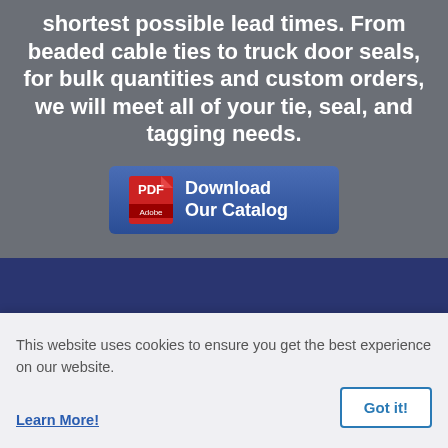shortest possible lead times. From beaded cable ties to truck door seals, for bulk quantities and custom orders, we will meet all of your tie, seal, and tagging needs.
[Figure (other): Download Our Catalog button with Adobe PDF icon on blue background]
© 2021-2022 | AndFel Corp. | 1225 Sieboldt Quarry Road | Springville, Indiana 47462 Phone: 1-800-622-7525 | Fax: 1-800-761-1296 | Contact Us
This website uses cookies to ensure you get the best experience on our website. Learn More!